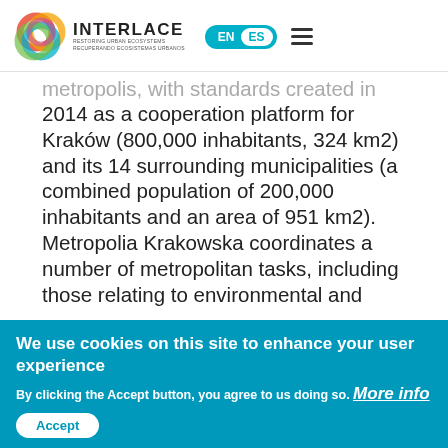[Figure (logo): INTERLACE logo with colorful interlocking circles and text 'RESTORING URBAN ECOSYSTEMS / RECUPERANDO ECOSISTEMAS URBANOS']
metropolis, with standards created in 2014 as a cooperation platform for Kraków (800,000 inhabitants, 324 km2) and its 14 surrounding municipalities (a combined population of 200,000 inhabitants and an area of 951 km2). Metropolia Krakowska coordinates a number of metropolitan tasks, including those relating to environmental and
We use cookies on this site to enhance your user experience
By clicking the Accept button, you agree to us doing so. More info